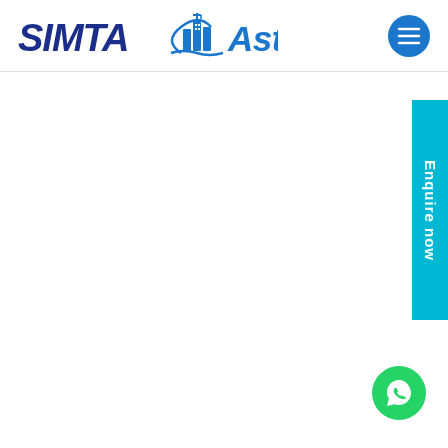SIMTA Astrix
[Figure (logo): SIMTA Astrix brand logo with building icon and checkmark, blue color scheme]
[Figure (other): Hamburger menu icon button, circular blue]
[Figure (other): Enquire now vertical tab on right side, cyan background]
[Figure (other): WhatsApp floating action button, green circle with WhatsApp icon]